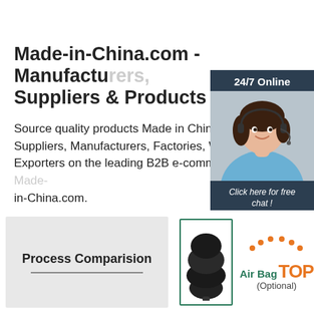Made-in-China.com - Manufacturers, Suppliers & Products …
Source quality products Made in China. Find Suppliers, Manufacturers, Factories, Wholesalers, Exporters on the leading B2B e-commerce website Made-in-China.com.
Get Price
[Figure (illustration): Chat widget with a woman wearing a headset, dark background, '24/7 Online' header, 'Click here for free chat!' text and orange QUOTATION button]
[Figure (illustration): Gray box with 'Process Comparision' bold text and underline]
[Figure (photo): Air bag product thumbnail image with green border]
[Figure (illustration): Air Bag TOP (Optional) logo with orange dots and text]